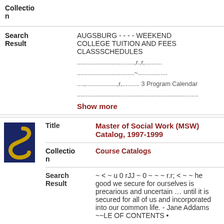n
Search Result
AUGSBURG - - - - WEEKEND COLLEGE TUITION AND FEES CLASSSCHEDULES
.................................,r.,r,.......... ................................~................. ....,..................,r,.......... 3 Program Calendar ......................................................................
Show more
[Figure (photo): Thumbnail image of Master of Social Work catalog cover, dark blue with gold S-shaped design]
Title
Master of Social Work (MSW) Catalog, 1997-1999
Collection n
Course Catalogs
Search Result
~ < ~ u 0 rJJ ~ 0 ~ ~ ~ r.r; < ~ ~ he good we secure for ourselves is precarious and uncertain … until it is secured for all of us and incorporated into our common life. - Jane Addams ~~LE OF CONTENTS •